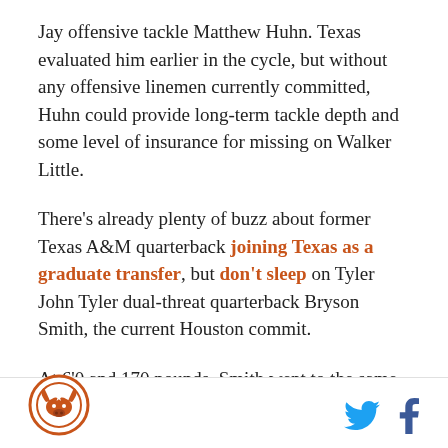Jay offensive tackle Matthew Huhn. Texas evaluated him earlier in the cycle, but without any offensive linemen currently committed, Huhn could provide long-term tackle depth and some level of insurance for missing on Walker Little.
There's already plenty of buzz about former Texas A&M quarterback joining Texas as a graduate transfer, but don't sleep on Tyler John Tyler dual-threat quarterback Bryson Smith, the current Houston commit.
At 6'0 and 170 pounds, Smith went to the same school as current Houston standout Greg Ward Jr. and has a similar build and skill set — it's an easy comparison
[Figure (logo): Circular logo with star and longhorn bull icon, orange outline on white background]
[Figure (logo): Twitter bird icon in blue and Facebook 'f' icon in dark blue, social media share buttons]